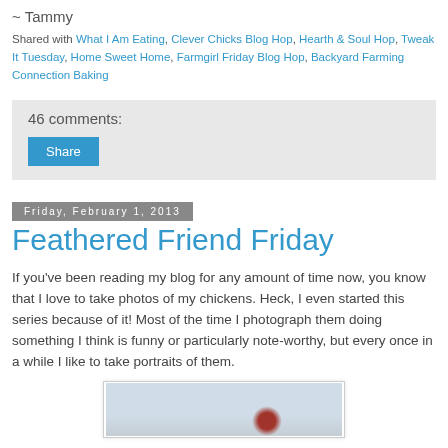~ Tammy
Shared with What I Am Eating, Clever Chicks Blog Hop, Hearth & Soul Hop, Tweak It Tuesday, Home Sweet Home, Farmgirl Friday Blog Hop, Backyard Farming Connection Baking
46 comments:
Share
Friday, February 1, 2013
Feathered Friend Friday
If you've been reading my blog for any amount of time now, you know that I love to take photos of my chickens. Heck, I even started this series because of it! Most of the time I photograph them doing something I think is funny or particularly note-worthy, but every once in a while I like to take portraits of them.
[Figure (photo): Partial view of a chicken photograph, showing winter/snowy background with a red/brown chicken partially visible at the bottom right]